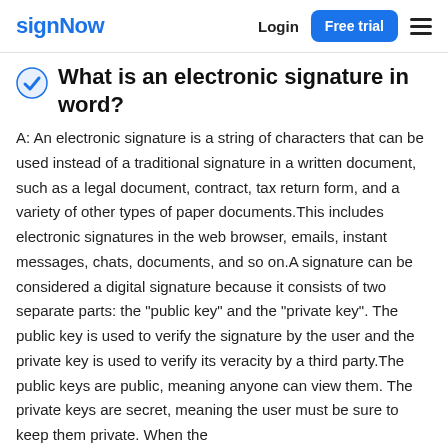signNow  Login  Free trial
What is an electronic signature in word?
A: An electronic signature is a string of characters that can be used instead of a traditional signature in a written document, such as a legal document, contract, tax return form, and a variety of other types of paper documents.This includes electronic signatures in the web browser, emails, instant messages, chats, documents, and so on.A signature can be considered a digital signature because it consists of two separate parts: the "public key" and the "private key". The public key is used to verify the signature by the user and the private key is used to verify its veracity by a third party.The public keys are public, meaning anyone can view them. The private keys are secret, meaning the user must be sure to keep them private. When the